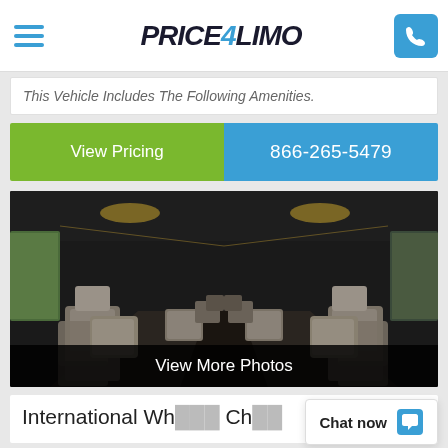Price4Limo
This Vehicle Includes The Following Amenities.
View Pricing
866-265-5479
[Figure (photo): Interior of a charter/party bus showing rows of gray leather seats with a dark ceiling and overhead LED lighting, viewed from the front looking toward the rear of the vehicle.]
View More Photos
International Wh... Ch...
Chat now